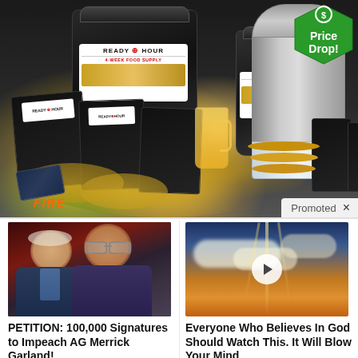[Figure (photo): Promotional advertisement showing Ready Hour 4-Week Food Supply buckets, food pouches, prepared meals including pancakes and other dishes, and an Alexapure water filter. A green 'Price Drop!' hexagonal badge appears in the top right. A 'Promoted' label with an X close button appears at the bottom right of the ad.]
Promoted
[Figure (photo): Photo of two older men in suits appearing to be in a confrontational or serious discussion, used for political petition article.]
PETITION: 100,000 Signatures to Impeach AG Merrick Garland!
[Figure (photo): Photo of dramatic golden sky with clouds and rays of light, with a video play button overlay. Used for religious/inspirational video article.]
Everyone Who Believes In God Should Watch This. It Will Blow Your Mind
20,257